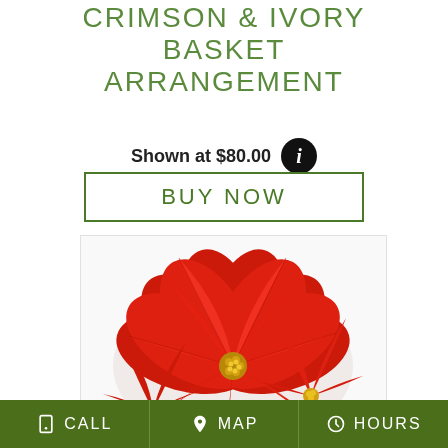CRIMSON & IVORY BASKET ARRANGEMENT
Shown at $80.00
BUY NOW
[Figure (photo): Photo of a red poinsettia basket arrangement with multiple large red blooms with yellow centers, viewed from above, displayed in a white/light background box.]
CALL   MAP   HOURS